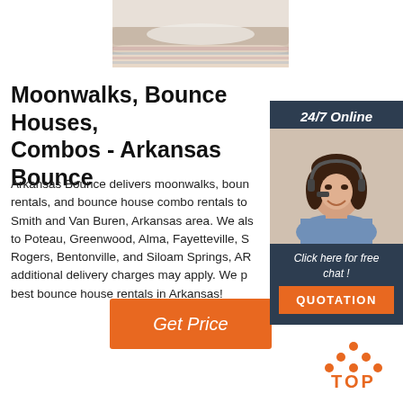[Figure (photo): Photo of stacked bedding/pillows with colorful striped fabric]
Moonwalks, Bounce Houses, Combos - Arkansas Bounce
Arkansas Bounce delivers moonwalks, bounce house rentals, and bounce house combo rentals to the Fort Smith and Van Buren, Arkansas area. We also deliver to Poteau, Greenwood, Alma, Fayetteville, Springdale, Rogers, Bentonville, and Siloam Springs, AR, though additional delivery charges may apply. We provide the best bounce house rentals in Arkansas!
[Figure (photo): 24/7 Online chat widget with woman wearing headset, orange QUOTATION button]
[Figure (illustration): TOP button icon with orange dots and orange TOP text]